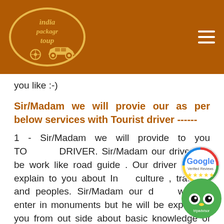[Figure (logo): India Package Tour logo in an oval shape with a car silhouette on a brown/orange background header bar with hamburger menu icon]
you like :-)
Sir/Madam we will provie our as per below services with Tourist driver ------
1 - Sir/Madam we will provide to you TOURIST DRIVER. Sir/Madam our driver will be work like road guide . Our driver will be explain to you about India culture , tradition and peoples. Sir/Madam our driver will not enter in monuments but he will be explain to you from out side about basic knowledge of monuments .
2 - Sir/Madam our driver will be provide to you our services from morning to until to your evening dinner. Sir/Madam if you like to go for dinner out side from the